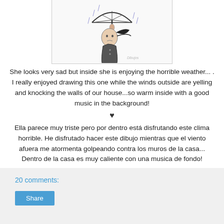[Figure (illustration): Ink illustration of a girl with dark hair holding an umbrella in the wind and rain, wearing a coat, partially cropped at top]
She looks very sad but inside she is enjoying the horrible weather... . I really enjoyed drawing this one while the winds outside are yelling and knocking the walls of our house...so warm inside with a good music in the background!
♥
Ella parece muy triste pero por dentro está disfrutando este clima horrible. He disfrutado hacer este dibujo mientras que el viento afuera me atormenta golpeando contra los muros de la casa... Dentro de la casa es muy caliente con una musica de fondo!
20 comments:
Share